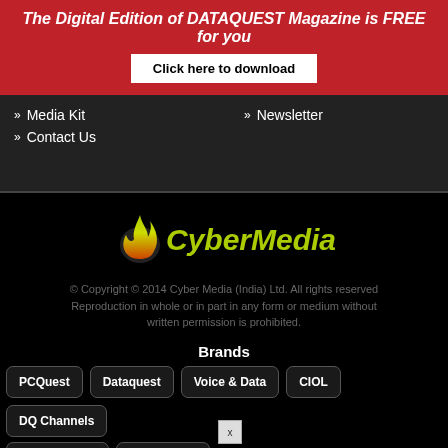The Digital Edition of DATAQUEST Magazine is FREE for you
Click here to download
» Media Kit
» Newsletter
» Contact Us
[Figure (logo): CyberMedia logo with flame icon and green/yellow text]
© Copyright © 2014 Cyber Media (India) Ltd. All rights reserved Reproduction in whole or in part in any form or medium without written permission is prohibited.
Brands
PCQuest
Dataquest
Voice & Data
CIOL
DQ Channels
The DQ Week
Cyber Astro